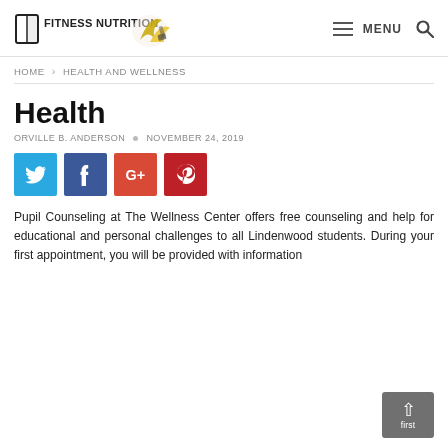FITNESS NUTRITION — MENU
HOME > HEALTH AND WELLNESS
Health
ORVILLE B. ANDERSON · NOVEMBER 24, 2019
[Figure (other): Social share buttons: Twitter, Facebook, Google+, Pinterest]
Pupil Counseling at The Wellness Center offers free counseling and help for educational and personal challenges to all Lindenwood students. During your first appointment, you will be provided with information